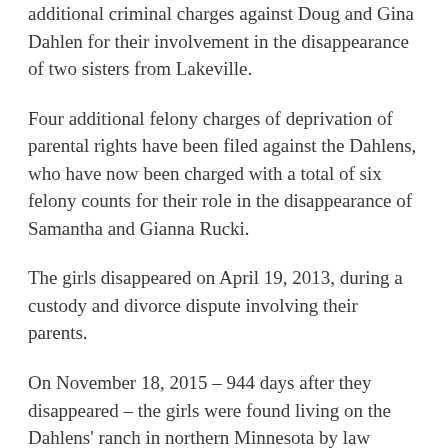additional criminal charges against Doug and Gina Dahlen for their involvement in the disappearance of two sisters from Lakeville.
Four additional felony charges of deprivation of parental rights have been filed against the Dahlens, who have now been charged with a total of six felony counts for their role in the disappearance of Samantha and Gianna Rucki.
The girls disappeared on April 19, 2013, during a custody and divorce dispute involving their parents.
On November 18, 2015 – 944 days after they disappeared – the girls were found living on the Dahlens' ranch in northern Minnesota by law enforcement, headed by the Lakeville Police Department.